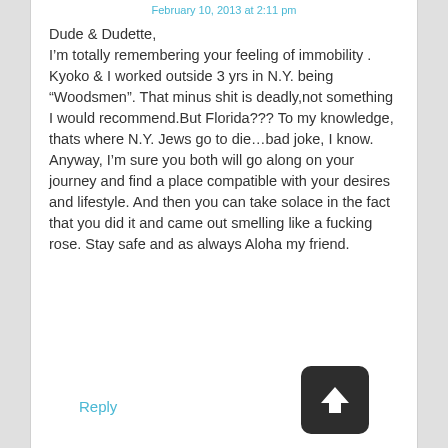February 10, 2013 at 2:11 pm
Dude & Dudette,
I’m totally remembering your feeling of immobility . Kyoko & I worked outside 3 yrs in N.Y. being “Woodsmen”. That minus shit is deadly,not something I would recommend.But Florida??? To my knowledge, thats where N.Y. Jews go to die…bad joke, I know. Anyway, I’m sure you both will go along on your journey and find a place compatible with your desires and lifestyle. And then you can take solace in the fact that you did it and came out smelling like a fucking rose. Stay safe and as always Aloha my friend.
Reply